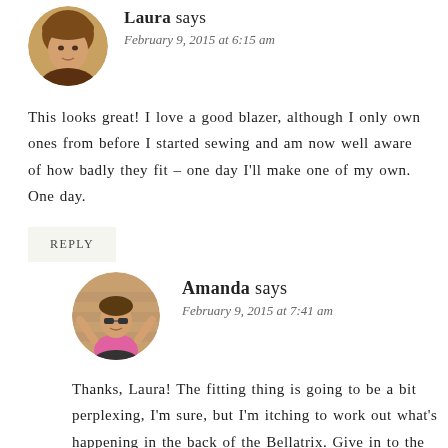[Figure (photo): Circular avatar photo of Laura, a woman with bangs]
Laura says
February 9, 2015 at 6:15 am
This looks great! I love a good blazer, although I only own ones from before I started sewing and am now well aware of how badly they fit – one day I'll make one of my own. One day.
REPLY
[Figure (photo): Circular avatar photo of Amanda, a woman with arms raised against a brick wall]
Amanda says
February 9, 2015 at 7:41 am
Thanks, Laura! The fitting thing is going to be a bit perplexing, I'm sure, but I'm itching to work out what's happening in the back of the Bellatrix. Give in to the blazer power- you know you want